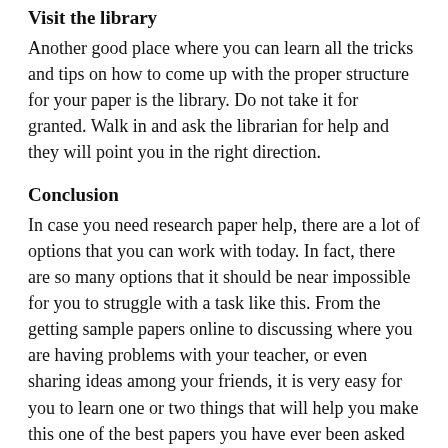Visit the library
Another good place where you can learn all the tricks and tips on how to come up with the proper structure for your paper is the library. Do not take it for granted. Walk in and ask the librarian for help and they will point you in the right direction.
Conclusion
In case you need research paper help, there are a lot of options that you can work with today. In fact, there are so many options that it should be near impossible for you to struggle with a task like this. From the getting sample papers online to discussing where you are having problems with your teacher, or even sharing ideas among your friends, it is very easy for you to learn one or two things that will help you make this one of the best papers you have ever been asked to write.